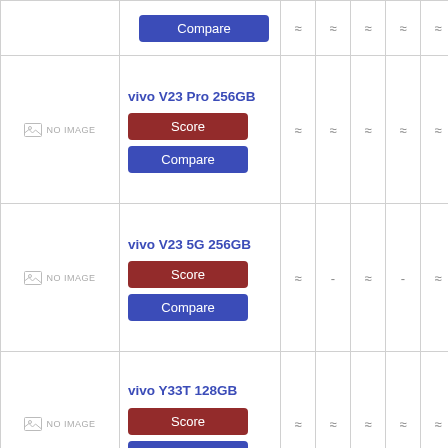| Image | Device | Col1 | Col2 | Col3 | Col4 | Col5 | Col6 |
| --- | --- | --- | --- | --- | --- | --- | --- |
| NO IMAGE | Compare button | ≈ | ≈ | ≈ | ≈ | ≈ | ≈ |
| NO IMAGE | vivo V23 Pro 256GB | Score | Compare | ≈ | ≈ | ≈ | ≈ | ≈ | ≈ |
| NO IMAGE | vivo V23 5G 256GB | Score | Compare | ≈ | - | ≈ | - | ≈ | ≈ |
| NO IMAGE | vivo Y33T 128GB | Score | Compare | ≈ | ≈ | ≈ | ≈ | ≈ | ≈ |